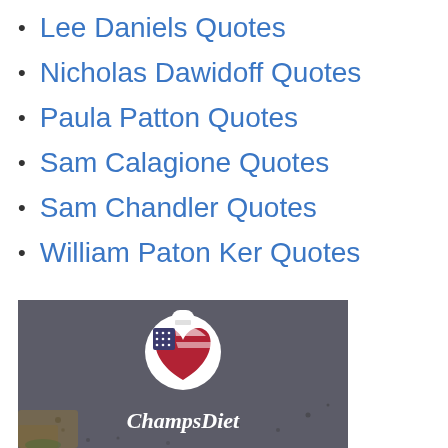Lee Daniels Quotes
Nicholas Dawidoff Quotes
Paula Patton Quotes
Sam Calagione Quotes
Sam Chandler Quotes
William Paton Ker Quotes
[Figure (logo): ChampsDiet advertisement banner with American flag heart logo on a dark gray textured background with food items and cursive ChampsDiet brand text]